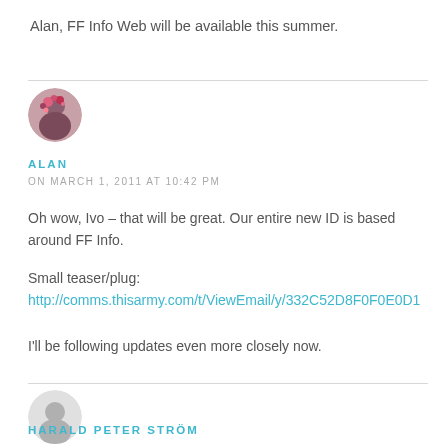Alan, FF Info Web will be available this summer.
[Figure (photo): Circular avatar image of a person with colorful accessory]
ALAN
ON MARCH 1, 2011 AT 10:42 PM
Oh wow, Ivo – that will be great. Our entire new ID is based around FF Info.
Small teaser/plug:
http://comms.thisarmy.com/t/ViewEmail/y/332C52D8F0F0E0D1
I'll be following updates even more closely now.
[Figure (illustration): Circular gray placeholder avatar icon]
HARALD PETER STRÖM